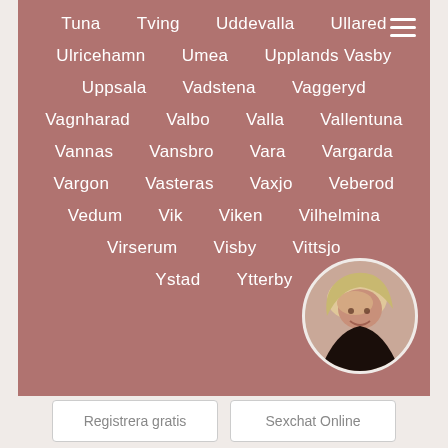Tuna
Tving
Uddevalla
Ullared
Ulricehamn
Umea
Upplands Vasby
Uppsala
Vadstena
Vaggeryd
Vagnharad
Valbo
Valla
Vallentuna
Vannas
Vansbro
Vara
Vargarda
Vargon
Vasteras
Vaxjo
Veberod
Vedum
Vik
Viken
Vilhelmina
Virserum
Visby
Vittsjo
Ystad
Ytterby
[Figure (photo): Circular avatar photo of a woman with blonde curly hair]
Registrera gratis
Sexchat Online